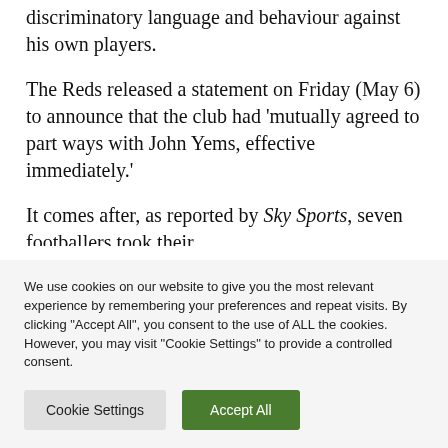discriminatory language and behaviour against his own players.
The Reds released a statement on Friday (May 6) to announce that the club had ‘mutually agreed to part ways with John Yems, effective immediately.’
It comes after, as reported by Sky Sports, seven footballers took their...
We use cookies on our website to give you the most relevant experience by remembering your preferences and repeat visits. By clicking “Accept All”, you consent to the use of ALL the cookies. However, you may visit “Cookie Settings” to provide a controlled consent.